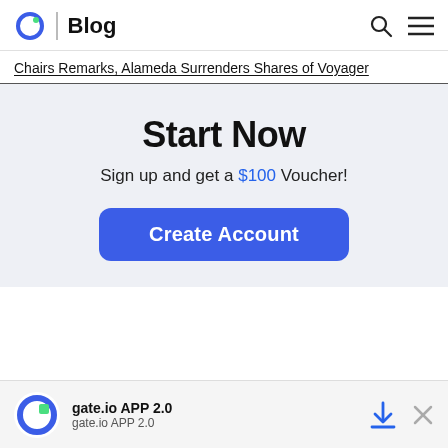Gate.io | Blog
Chairs Remarks, Alameda Surrenders Shares of Voyager
Start Now
Sign up and get a $100 Voucher!
Create Account
gate.io APP 2.0 | gate.io APP 2.0